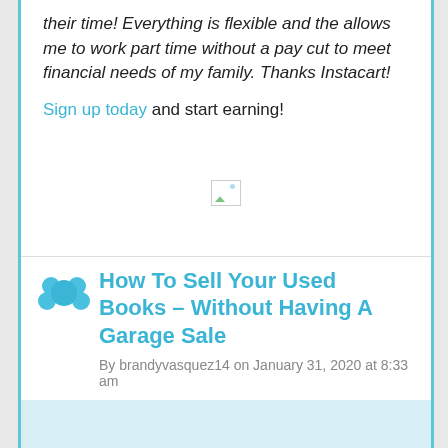their time! Everything is flexible and the allows me to work part time without a pay cut to meet financial needs of my family. Thanks Instacart!
Sign up today and start earning!
[Figure (other): Broken/missing image placeholder icon]
How To Sell Your Used Books – Without Having A Garage Sale
By brandyvasquez14 on January 31, 2020 at 8:33 am